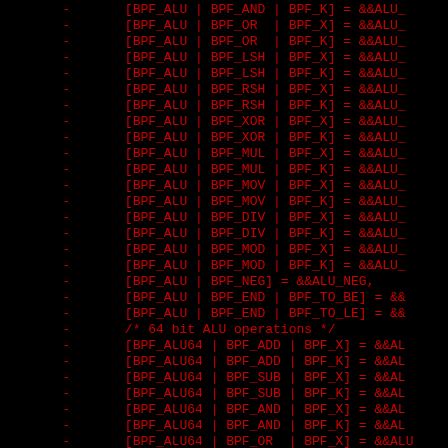Code listing showing BPF ALU and ALU64 operation table entries in C source code